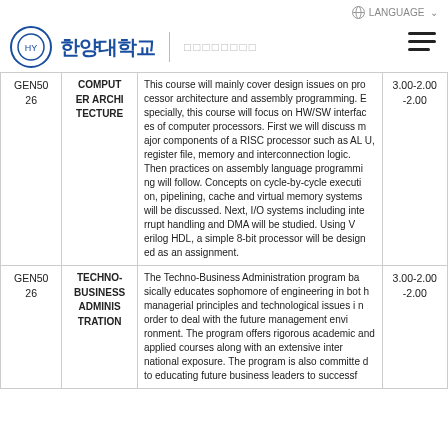한양대학교 | □□□□□□□□ LANGUAGE
| Code | Name | Description | Credits |
| --- | --- | --- | --- |
| GEN50 26 | COMPUTER ARCHITECTURE | This course will mainly cover design issues on processor architecture and assembly programming. Especially, this course will focus on HW/SW interfaces of computer processors. First we will discuss major components of a RISC processor such as ALU, register file, memory and interconnection logic. Then practices on assembly language programming will follow. Concepts on cycle-by-cycle execution, pipelining, cache and virtual memory systems will be discussed. Next, I/O systems including interrupt handling and DMA will be studied. Using Verilog HDL, a simple 8-bit processor will be designed as an assignment. | 3.00-2.00-2.00 |
| GEN50 26 | TECHNO-BUSINESS ADMINISTRATION | The Techno-Business Administration program basically educates sophomore of engineering in both managerial principles and technological issues in order to deal with the future management environment. The program offers rigorous academic and applied courses along with an extensive international exposure. The program is also committed to educating future business leaders to successf | 3.00-2.00-2.00 |